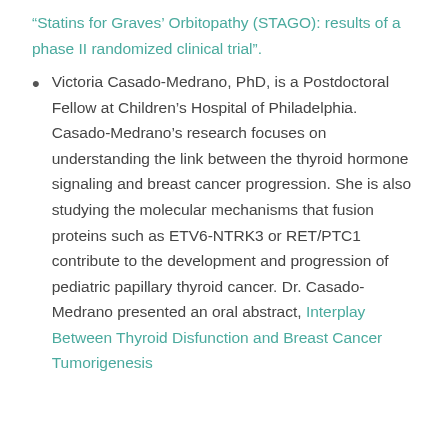“Statins for Graves’ Orbitopathy (STAGO): results of a phase II randomized clinical trial”.
Victoria Casado-Medrano, PhD, is a Postdoctoral Fellow at Children’s Hospital of Philadelphia. Casado-Medrano’s research focuses on understanding the link between the thyroid hormone signaling and breast cancer progression. She is also studying the molecular mechanisms that fusion proteins such as ETV6-NTRK3 or RET/PTC1 contribute to the development and progression of pediatric papillary thyroid cancer. Dr. Casado-Medrano presented an oral abstract, Interplay Between Thyroid Disfunction and Breast Cancer Tumorigenesis